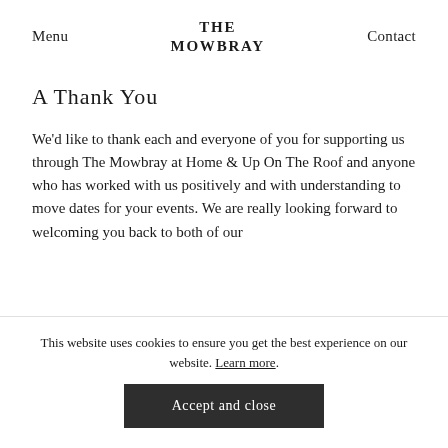Menu  THE MOWBRAY  Contact
A Thank You
We'd like to thank each and everyone of you for supporting us through The Mowbray at Home & Up On The Roof and anyone who has worked with us positively and with understanding to move dates for your events. We are really looking forward to welcoming you back to both of our
This website uses cookies to ensure you get the best experience on our website. Learn more.
Accept and close